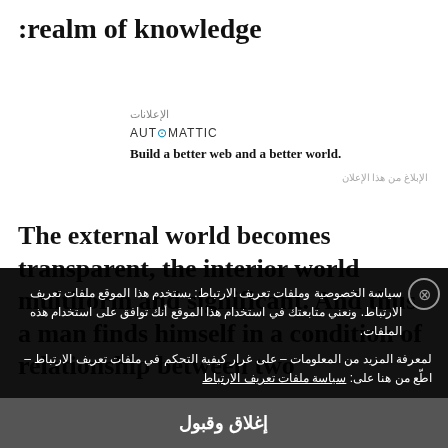:realm of knowledge
الإعلانات
[Figure (logo): Automattic logo with blue dot]
Build a better web and a better world.
الإبلاغ من هذا الإعلان
The external world becomes transparent, the interior world multiform and significant. And thus a man finds himself in a condition of relationship between two
سياسة الخصوصية وملفات تعريف الارتباط: يستخدم هذا الموقع ملفات تعريف الارتباط. ونعني متابعتك في استخدام هذا الموقع أنك توافق على استخدام هذه الملفات.
لمعرفة المزيد من المعلومات – على غرار كيفية التحكم في ملفات تعريف الارتباط – اطّع من هنا على: سياسة ملفات تعريف الارتباط
إغلاق وقبول